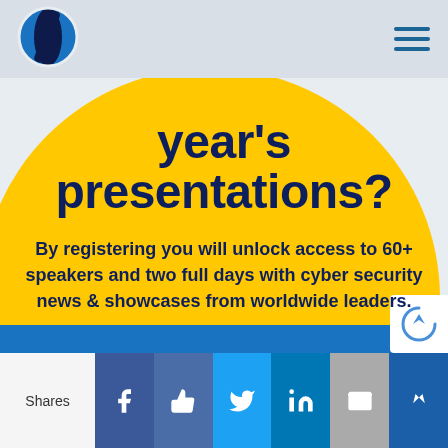[Figure (logo): Circular logo with blue globe/disc and black slash]
year's presentations?
By registering you will unlock access to 60+ speakers and two full days with cyber security news & showcases from worldwide leaders.
Shares — social share buttons: Facebook, Like, Twitter, LinkedIn, Email, Feather